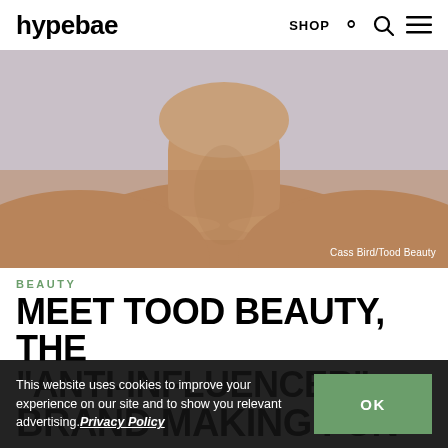hypebae | SHOP
[Figure (photo): Close-up photo of a person's chin, neck and collarbone area against a light background. Photo credit: Cass Bird/Tood Beauty]
BEAUTY
MEET TOOD BEAUTY, THE "ANTI-INFLUENCER" BRAND MAKING FUN
This website uses cookies to improve your experience on our site and to show you relevant advertising. Privacy Policy  OK